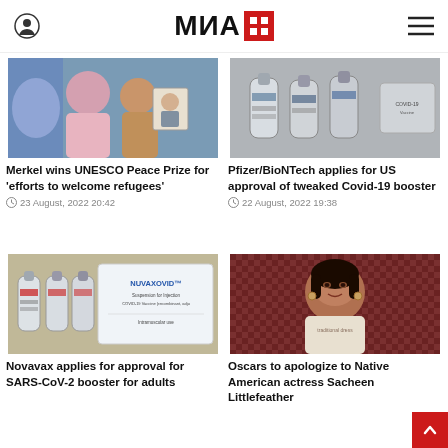МИА (logo)
Related Articles
[Figure (photo): Girls holding a photo of Angela Merkel]
Merkel wins UNESCO Peace Prize for 'efforts to welcome refugees'
23 August, 2022 20:42
[Figure (photo): Pfizer/BioNTech vaccine vials]
Pfizer/BioNTech applies for US approval of tweaked Covid-19 booster
22 August, 2022 19:38
[Figure (photo): Nuvaxovid vaccine vials and box]
Novavax applies for approval for SARS-CoV-2 booster for adults
[Figure (photo): Native American woman, Sacheen Littlefeather]
Oscars to apologize to Native American actress Sacheen Littlefeather